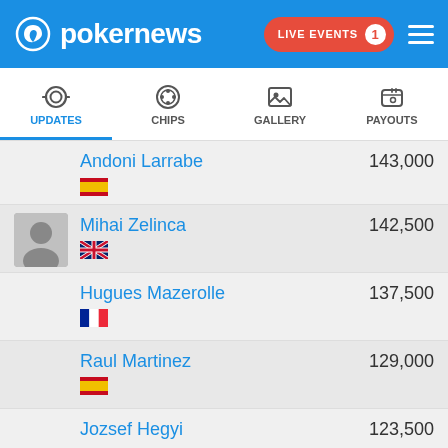pokernews — LIVE EVENTS 1
UPDATES | CHIPS | GALLERY | PAYOUTS
Andoni Larrabe — 143,000 (Spain)
Mihai Zelinca — 142,500 (UK)
Hugues Mazerolle — 137,500 (France)
Raul Martinez — 129,000 (Spain)
Jozsef Hegyi — 123,500
Sakari Jaaskelainen — 121,000